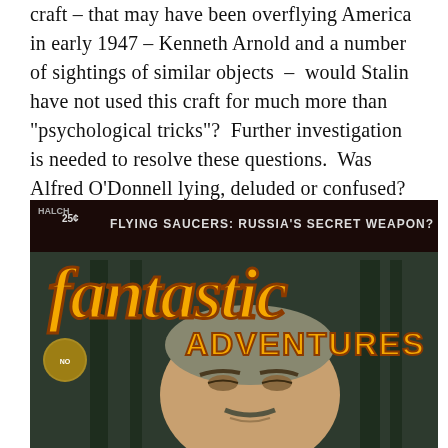craft – that may have been overflying America in early 1947 – Kenneth Arnold and a number of sightings of similar objects  –  would Stalin have not used this craft for much more than "psychological tricks"?  Further investigation is needed to resolve these questions.  Was Alfred O'Donnell lying, deluded or confused?
[Figure (photo): Cover of 'Fantastic Adventures' magazine showing large yellow stylized text 'fantastic ADVENTURES' with subtitle 'FLYING SAUCERS: RUSSIA'S SECRET WEAPON?' at top. Price shown as 25 cents. A man's face (resembling Stalin) is visible in the lower portion of the cover against a dark background.]